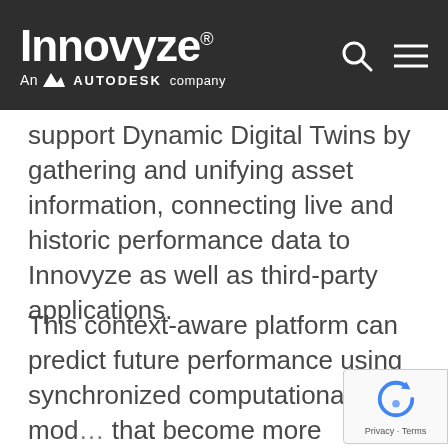Innovyze® — An AUTODESK company
support Dynamic Digital Twins by gathering and unifying asset information, connecting live and historic performance data to Innovyze as well as third-party applications.
This context-aware platform can predict future performance using synchronized computational mod... that become more intelligent as